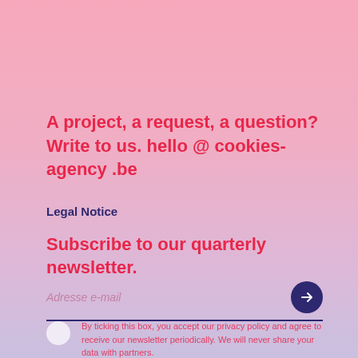A project, a request, a question? Write to us. hello @ cookies-agency .be
Legal Notice
Subscribe to our quarterly newsletter.
Adresse e-mail
By ticking this box, you accept our privacy policy and agree to receive our newsletter periodically. We will never share your data with partners.